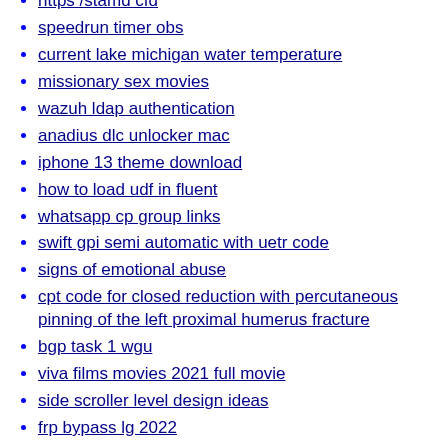https /stamd cfd
speedrun timer obs
current lake michigan water temperature
missionary sex movies
wazuh ldap authentication
anadius dlc unlocker mac
iphone 13 theme download
how to load udf in fluent
whatsapp cp group links
swift gpi semi automatic with uetr code
signs of emotional abuse
cpt code for closed reduction with percutaneous pinning of the left proximal humerus fracture
bgp task 1 wgu
viva films movies 2021 full movie
side scroller level design ideas
frp bypass lg 2022
yesnm login
superheroine sex pics
index of cvv txt 2021
webtoon promo codes for coins 2022
script aimbot
cooker hood carbon filters universal
recteq manual
power bi stacked bar chart show value